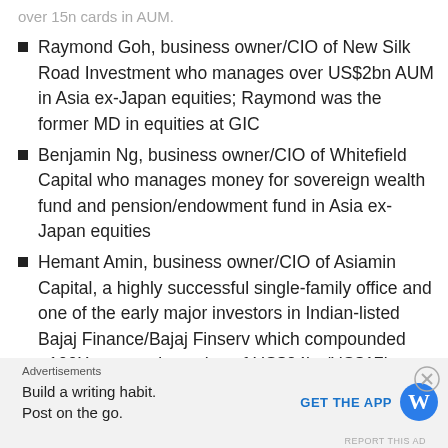Raymond Goh, business owner/CIO of New Silk Road Investment who manages over US$2bn AUM in Asia ex-Japan equities; Raymond was the former MD in equities at GIC
Benjamin Ng, business owner/CIO of Whitefield Capital who manages money for sovereign wealth fund and pension/endowment fund in Asia ex-Japan equities
Hemant Amin, business owner/CIO of Asiamin Capital, a highly successful single-family office and one of the early major investors in Indian-listed Bajaj Finance/Bajaj Finserv which compounded >100X to a market value of US$24bn/US$17bn
Advertisements
Build a writing habit. Post on the go. GET THE APP